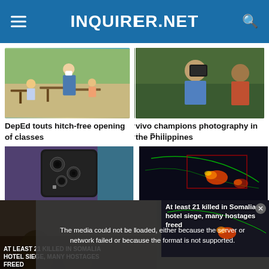INQUIRER.NET
[Figure (photo): Teacher with mask helping students in a classroom with wooden desks]
DepEd touts hitch-free opening of classes
[Figure (photo): Two young people taking a selfie with a smartphone outdoors]
vivo champions photography in the Philippines
[Figure (photo): Black smartphone with triple camera module against a purple/teal background]
[Figure (photo): Weather radar satellite image showing storm system]
[Figure (photo): Somalia hotel siege scene with dark imagery and news chyron]
At least 21 killed in Somalia hotel siege, many hostages freed
The media could not be loaded, either because the server or network failed or because the format is not supported.
AT LEAST 21 KILLED IN SOMALIA HOTEL SIEGE, MANY HOSTAGES FREED